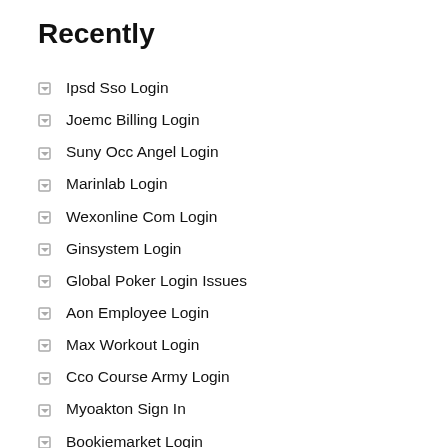Recently
Ipsd Sso Login
Joemc Billing Login
Suny Occ Angel Login
Marinlab Login
Wexonline Com Login
Ginsystem Login
Global Poker Login Issues
Aon Employee Login
Max Workout Login
Cco Course Army Login
Myoakton Sign In
Bookiemarket Login
Hy Cite Customers Login